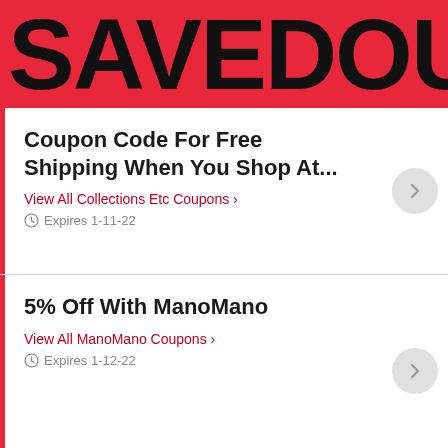SAVEDOUB
Coupon Code For Free Shipping When You Shop At...
View All Collections Etc Coupons >
Expires 1-11-22
5% Off With ManoMano
View All ManoMano Coupons >
Expires 1-12-22
Save Up To Half Price With Any Purchase